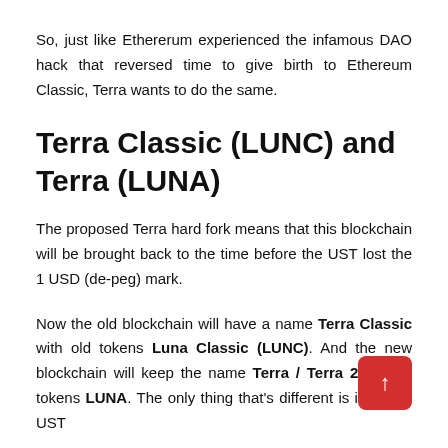So, just like Ethererum experienced the infamous DAO hack that reversed time to give birth to Ethereum Classic, Terra wants to do the same.
Terra Classic (LUNC) and Terra (LUNA)
The proposed Terra hard fork means that this blockchain will be brought back to the time before the UST lost the 1 USD (de-peg) mark.
Now the old blockchain will have a name Terra Classic with old tokens Luna Classic (LUNC). And the new blockchain will keep the name Terra / Terra 2 and its tokens LUNA. The only thing that's different is it will no UST stablecoin.